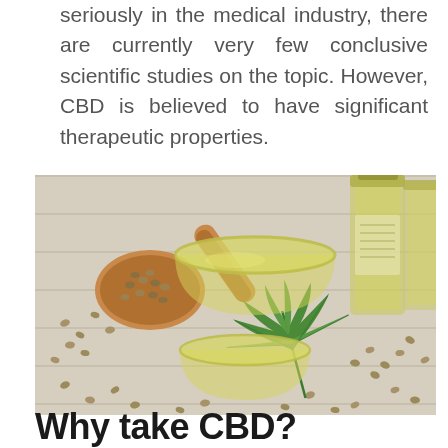seriously in the medical industry, there are currently very few conclusive scientific studies on the topic. However, CBD is believed to have significant therapeutic properties.
[Figure (photo): Photo of hemp seeds in a wooden scoop, glass bowls filled with CBD oil, glass bottles of oil, and a cannabis leaf, arranged on a white wooden surface.]
Why take CBD?